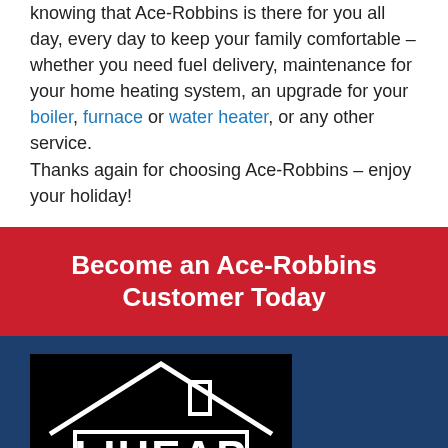knowing that Ace-Robbins is there for you all day, every day to keep your family comfortable – whether you need fuel delivery, maintenance for your home heating system, an upgrade for your boiler, furnace or water heater, or any other service. Thanks again for choosing Ace-Robbins – enjoy your holiday!
Become an Ace-Robbins Customer Today
[Figure (logo): LIHEAP logo — white text and house silhouette on black background]